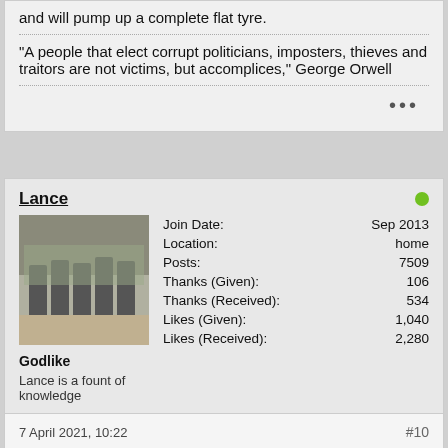and will pump up a complete flat tyre.
"A people that elect corrupt politicians, imposters, thieves and traitors are not victims, but accomplices," George Orwell
Lance
| Field | Value |
| --- | --- |
| Join Date: | Sep 2013 |
| Location: | home |
| Posts: | 7509 |
| Thanks (Given): | 106 |
| Thanks (Received): | 534 |
| Likes (Given): | 1,040 |
| Likes (Received): | 2,280 |
Godlike
Lance is a fount of knowledge
7 April 2021, 10:22
#10
bought one of these at the weekend as my trusty old Chinese one expired.
https://www.amazon.co.uk/TIREWELL-12.../dp/B06ZXR9P6R